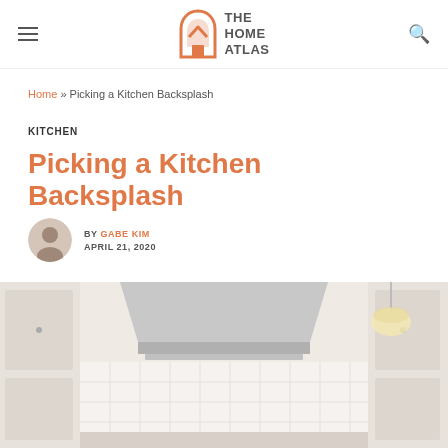THE HOME ATLAS
Home » Picking a Kitchen Backsplash
KITCHEN
Picking a Kitchen Backsplash
BY GABE KIM
APRIL 21, 2020
[Figure (photo): Kitchen with white cabinets and a stainless steel range hood, with white tile backsplash visible]